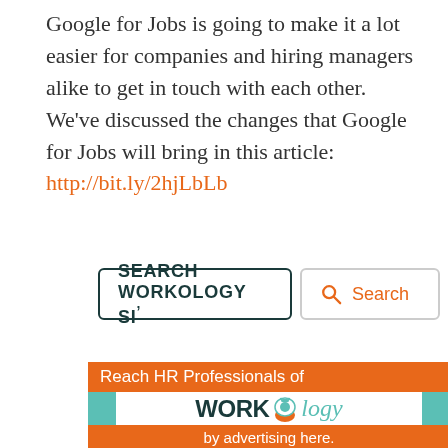Google for Jobs is going to make it a lot easier for companies and hiring managers alike to get in touch with each other. We've discussed the changes that Google for Jobs will bring in this article: http://bit.ly/2hjLbLb
[Figure (screenshot): Search bar UI with input field labeled SEARCH WORKOLOGY SI' and an orange search button with magnifier icon]
[Figure (infographic): Workology advertisement banner with teal background, orange bars reading 'Reach HR Professionals of' and 'by advertising here.' with Workology logo in the center]